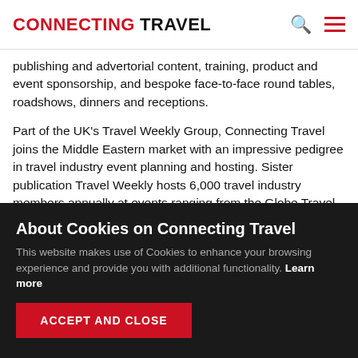CONNECTING TRAVEL
publishing and advertorial content, training, product and event sponsorship, and bespoke face-to-face round tables, roadshows, dinners and receptions.
Part of the UK's Travel Weekly Group, Connecting Travel joins the Middle Eastern market with an impressive pedigree in travel industry event planning and hosting. Sister publication Travel Weekly hosts 6,000 travel industry members annually at events ranging from the Globe Travel Awards in the UK, attended by more than 1,200 guests at London's Grosvenor
About Cookies on Connecting Travel
This website makes use of Cookies to enhance your browsing experience and provide you with additional functionality. Learn more